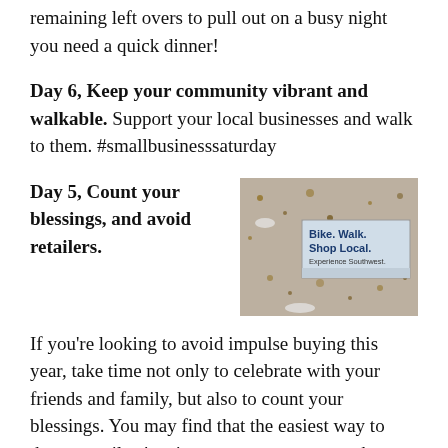remaining left overs to pull out on a busy night you need a quick dinner!
Day 6, Keep your community vibrant and walkable.  Support your local businesses and walk to them. #smallbusinesssaturday
Day 5, Count your blessings, and avoid retailers.
[Figure (photo): Photo of a sign in snow and leaves reading 'Bike. Walk. Shop Local. Experience Southwest.']
If you're looking to avoid impulse buying this year, take time not only to celebrate with your friends and family, but also to count your blessings. You may find that the easiest way to thwart retailers' enticements as you peruse the shopping aisle isn't to try to